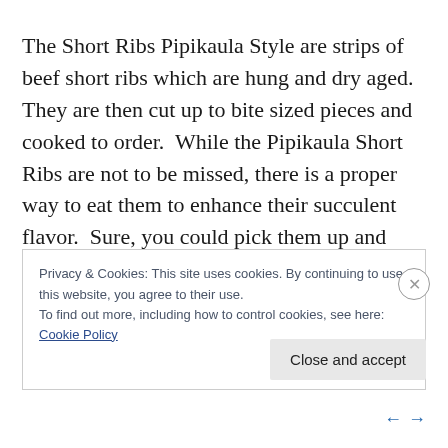The Short Ribs Pipikaula Style are strips of beef short ribs which are hung and dry aged.  They are then cut up to bite sized pieces and cooked to order.  While the Pipikaula Short Ribs are not to be missed, there is a proper way to eat them to enhance their succulent flavor.  Sure, you could pick them up and devour them as is and would not be the slightest bit disappointed.  But there are extras that
Privacy & Cookies: This site uses cookies. By continuing to use this website, you agree to their use.
To find out more, including how to control cookies, see here: Cookie Policy
Close and accept